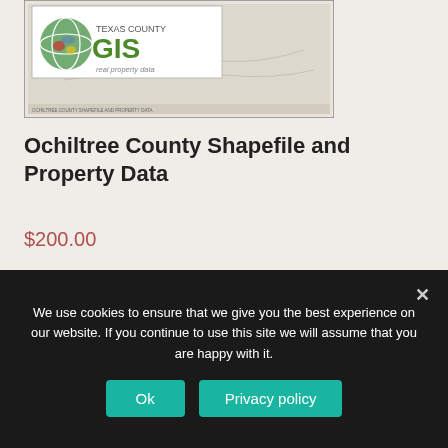[Figure (screenshot): Texas County GIS real property data product thumbnail showing a map with the Texas County GIS logo (globe icon with green GIS text) and a county map]
Ochiltree County Shapefile and Property Data
$200.00
Add to cart
We use cookies to ensure that we give you the best experience on our website. If you continue to use this site we will assume that you are happy with it.